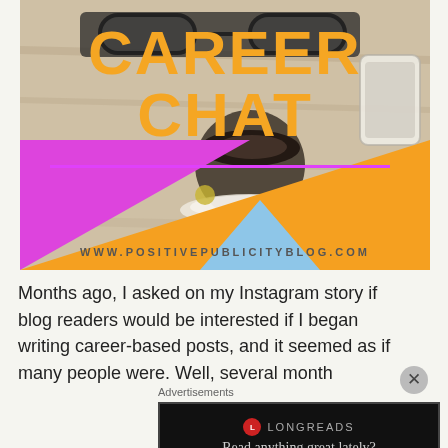[Figure (illustration): Career Chat blog banner with orange text 'CAREER CHAT' over a desk photo with coffee, glasses, phone. Pink horizontal line divider. Purple triangle bottom-left, orange triangle bottom-right, light blue triangle center-bottom. Website URL at bottom: www.positivepublicityblog.com]
Months ago, I asked on my Instagram story if blog readers would be interested if I began writing career-based posts, and it seemed as if many people were. Well, several month
Advertisements
[Figure (screenshot): Longreads advertisement: black background with Longreads logo and text 'Read anything great lately?']